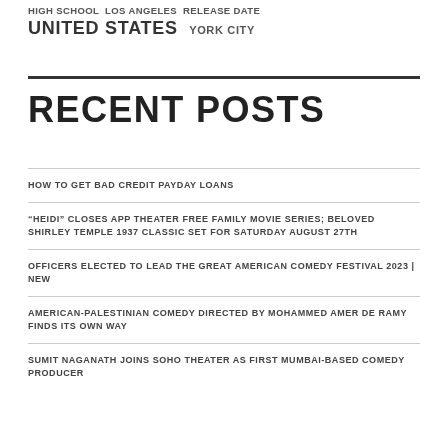HIGH SCHOOL LOS ANGELES RELEASE DATE UNITED STATES YORK CITY
RECENT POSTS
HOW TO GET BAD CREDIT PAYDAY LOANS
“HEIDI” CLOSES APP THEATER FREE FAMILY MOVIE SERIES; BELOVED SHIRLEY TEMPLE 1937 CLASSIC SET FOR SATURDAY AUGUST 27TH
OFFICERS ELECTED TO LEAD THE GREAT AMERICAN COMEDY FESTIVAL 2023 | NEW
AMERICAN-PALESTINIAN COMEDY DIRECTED BY MOHAMMED AMER DE RAMY FINDS ITS OWN WAY
SUMIT NAGANATH JOINS SOHO THEATER AS FIRST MUMBAI-BASED COMEDY PRODUCER